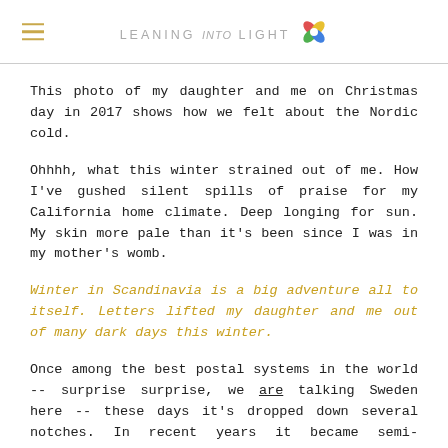LEANING INTO LIGHT
This photo of my daughter and me on Christmas day in 2017 shows how we felt about the Nordic cold.
Ohhhh, what this winter strained out of me. How I've gushed silent spills of praise for my California home climate. Deep longing for sun. My skin more pale than it's been since I was in my mother's womb.
Winter in Scandinavia is a big adventure all to itself. Letters lifted my daughter and me out of many dark days this winter.
Once among the best postal systems in the world -- surprise surprise, we are talking Sweden here -- these days it's dropped down several notches. In recent years it became semi-privatized, and now natives comment on